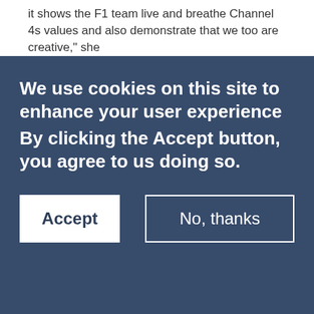it shows the F1 team live and breathe Channel 4s values and also demonstrate that we too are creative," she
We use cookies on this site to enhance your user experience
By clicking the Accept button, you agree to us doing so.
Accept
No, thanks